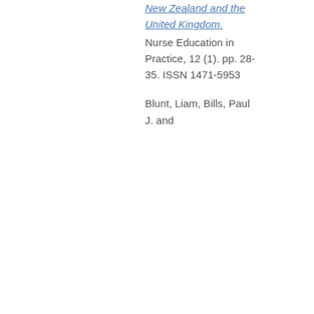New Zealand and the United Kingdom. Nurse Education in Practice, 12 (1). pp. 28-35. ISSN 1471-5953 Blunt, Liam, Bills, Paul J. and